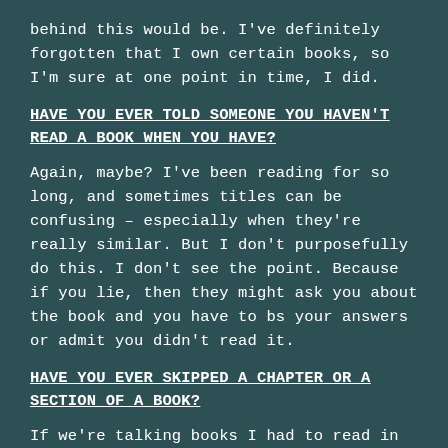behind this would be. I've definitely forgotten that I own certain books, so I'm sure at one point in time, I did.
HAVE YOU EVER TOLD SOMEONE YOU HAVEN'T READ A BOOK WHEN YOU HAVE?
Again, maybe? I've been reading for so long, and sometimes titles can be confusing – especially when they're really similar. But I don't purposefully do this. I don't see the point. Because if you lie, then they might ask you about the book and you have to bs your answers or admit you didn't read it.
HAVE YOU EVER SKIPPED A CHAPTER OR A SECTION OF A BOOK?
If we're talking books I had to read in college, then